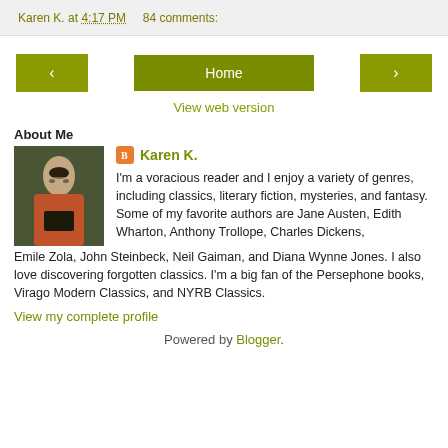Karen K. at 4:17 PM   84 comments:
< Home >
View web version
About Me
Karen K.
I'm a voracious reader and I enjoy a variety of genres, including classics, literary fiction, mysteries, and fantasy. Some of my favorite authors are Jane Austen, Edith Wharton, Anthony Trollope, Charles Dickens, Emile Zola, John Steinbeck, Neil Gaiman, and Diana Wynne Jones. I also love discovering forgotten classics. I'm a big fan of the Persephone books, Virago Modern Classics, and NYRB Classics.
View my complete profile
Powered by Blogger.